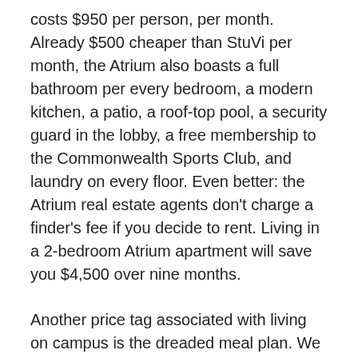costs $950 per person, per month. Already $500 cheaper than StuVi per month, the Atrium also boasts a full bathroom per every bedroom, a modern kitchen, a patio, a roof-top pool, a security guard in the lobby, a free membership to the Commonwealth Sports Club, and laundry on every floor. Even better: the Atrium real estate agents don't charge a finder's fee if you decide to rent. Living in a 2-bedroom Atrium apartment will save you $4,500 over nine months.
Another price tag associated with living on campus is the dreaded meal plan. We all complain about dining hall food, and for the $4,280 (or $475/month) BU charges for a meal plan, you could eat like a king living off campus. Currently, I upped my food budget from $200/month to $300/month – still $175 less than the meal plan – and can afford to eat at campus hotspots like T Anthony's, UBurger, Subway and Starbucks, as well as buy nice meals out in Boston and